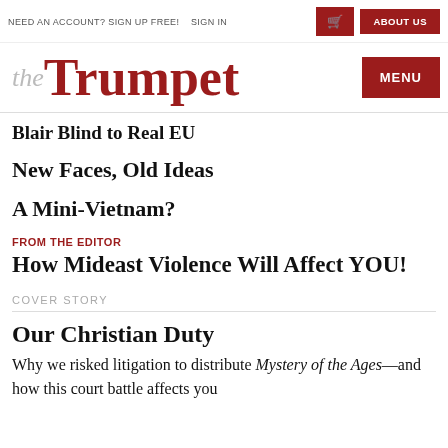NEED AN ACCOUNT? SIGN UP FREE!   SIGN IN   [basket icon]   ABOUT US   MENU
the Trumpet
Blair Blind to Real EU
New Faces, Old Ideas
A Mini-Vietnam?
FROM THE EDITOR
How Mideast Violence Will Affect YOU!
COVER STORY
Our Christian Duty
Why we risked litigation to distribute Mystery of the Ages—and how this court battle affects you